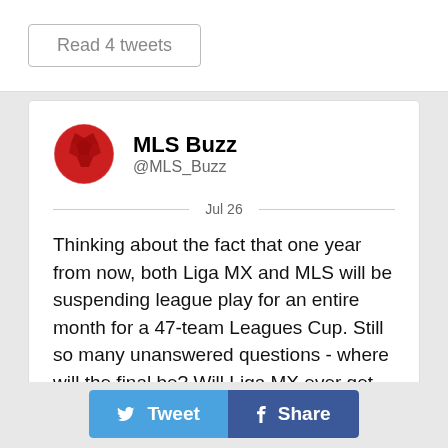Read 4 tweets
MLS Buzz @MLS_Buzz
Jul 26
Thinking about the fact that one year from now, both Liga MX and MLS will be suspending league play for an entire month for a 47-team Leagues Cup. Still so many unanswered questions - where will the final be? Will Liga MX ever get home games? How will groups be divided? etc. etc

The tournament is officially sanctioned and will give 3